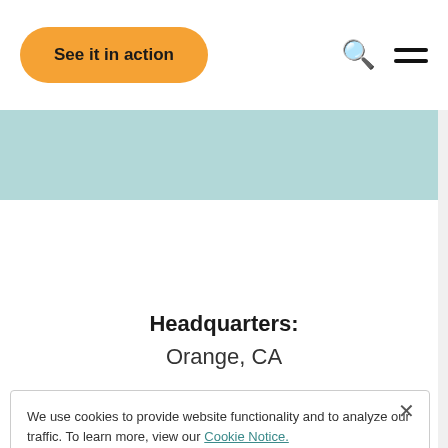[Figure (screenshot): Navigation bar with orange 'See it in action' button, search icon, and hamburger menu icon]
[Figure (other): Light teal/mint colored banner strip]
Headquarters:
Orange, CA
We use cookies to provide website functionality and to analyze our traffic. To learn more, view our Cookie Notice.